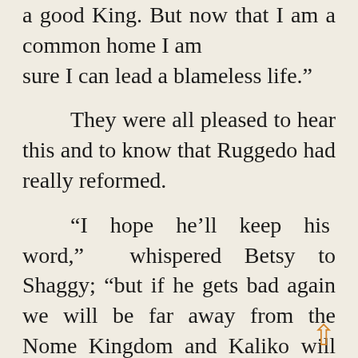a good King. But now that I am a common home I am sure I can lead a blameless life.” They were all pleased to hear this and to know that Ruggedo had really reformed. “I hope he’ll keep his word,” whispered Betsy to Shaggy; “but if he gets bad again we will be far away from the Nome Kingdom and Kaliko will have to ‘tend to the old nome himself.”